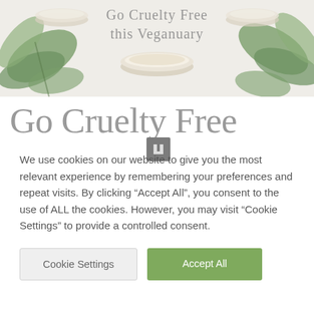[Figure (photo): Banner image showing green leaves and bowls with cream/balm products on white surface. Overlay text reads 'Go Cruelty Free this Veganuary' in serif font.]
Go Cruelty Free
We use cookies on our website to give you the most relevant experience by remembering your preferences and repeat visits. By clicking “Accept All”, you consent to the use of ALL the cookies. However, you may visit "Cookie Settings" to provide a controlled consent.